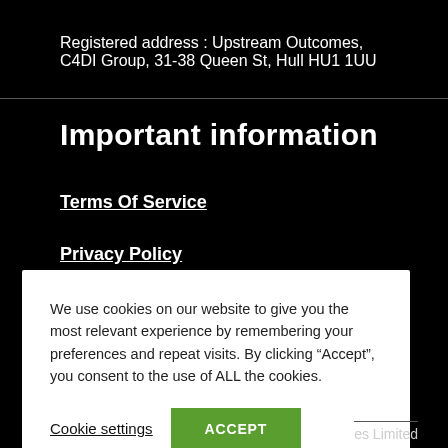Registered address : Upstream Outcomes, C4DI Group, 31-38 Queen St, Hull HU1 1UU
Important information
Terms Of Service
Privacy Policy
We use cookies on our website to give you the most relevant experience by remembering your preferences and repeat visits. By clicking “Accept”, you consent to the use of ALL the cookies.
Cookie settings   ACCEPT
es Limited